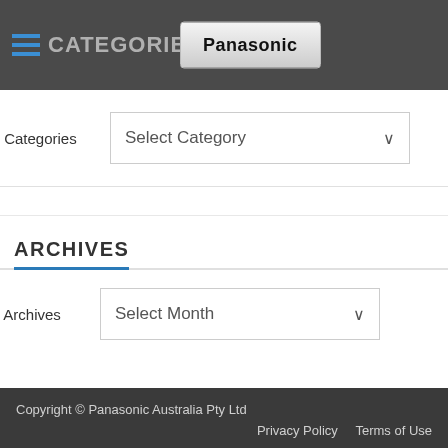CATEGORIES
[Figure (screenshot): Panasonic logo button in header]
Categories
Select Category
ARCHIVES
Archives
Select Month
Copyright © Panasonic Australia Pty Ltd   Privacy Policy   Terms of Use